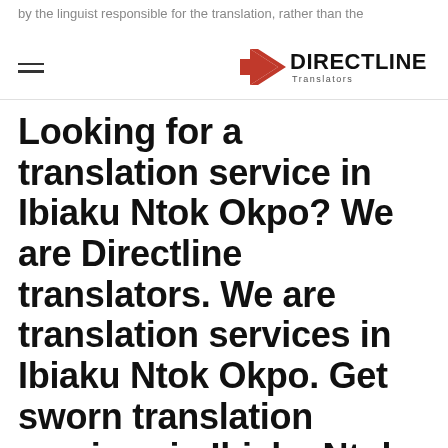by the linguist responsible for the translation, rather than the
[Figure (logo): Directline Translators logo with red arrow/D shape and DIRECTLINE Translators text]
Looking for a translation service in Ibiaku Ntok Okpo? We are Directline translators. We are translation services in Ibiaku Ntok Okpo. Get sworn translation services in Ibiaku Ntok Okpo Why you need our